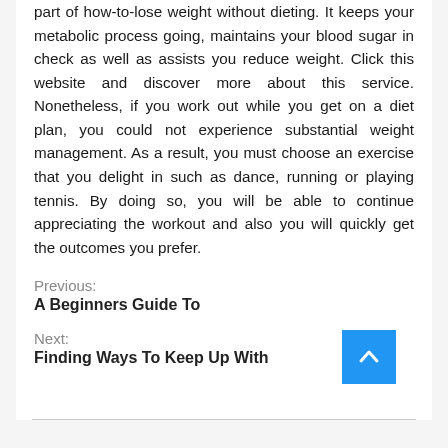part of how-to-lose weight without dieting. It keeps your metabolic process going, maintains your blood sugar in check as well as assists you reduce weight. Click this website and discover more about this service. Nonetheless, if you work out while you get on a diet plan, you could not experience substantial weight management. As a result, you must choose an exercise that you delight in such as dance, running or playing tennis. By doing so, you will be able to continue appreciating the workout and also you will quickly get the outcomes you prefer.
Previous:
A Beginners Guide To
Next:
Finding Ways To Keep Up With